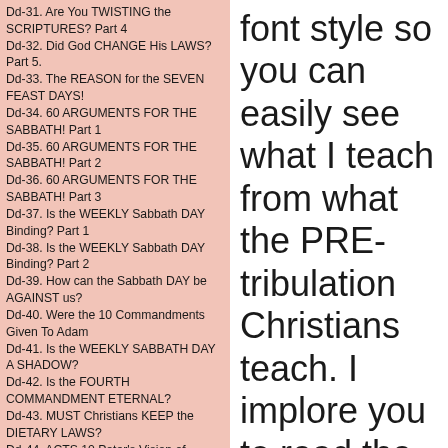Dd-31. Are You TWISTING the SCRIPTURES? Part 4
Dd-32. Did God CHANGE His LAWS? Part 5.
Dd-33. The REASON for the SEVEN FEAST DAYS!
Dd-34. 60 ARGUMENTS FOR THE SABBATH! Part 1
Dd-35. 60 ARGUMENTS FOR THE SABBATH! Part 2
Dd-36. 60 ARGUMENTS FOR THE SABBATH! Part 3
Dd-37. Is the WEEKLY Sabbath DAY Binding? Part 1
Dd-38. Is the WEEKLY Sabbath DAY Binding? Part 2
Dd-39. How can the Sabbath DAY be AGAINST us?
Dd-40. Were the 10 Commandments Given To Adam
Dd-41. Is the WEEKLY SABBATH DAY A SHADOW?
Dd-42. Is the FOURTH COMMANDMENT ETERNAL?
Dd-43. MUST Christians KEEP the DIETARY LAWS?
Dd-44. ACTS 10 Peter's Vision of CLEANSED Meat?
Dd-45. WHAT does HEBREW 4:1-11 TRULY MEAN?
Dd-46. Scriptures used to teach the Sabbath!-1
Dd-47. Scriptures used to Teach the Sabbath! Pt. 2
Dd-48. Scriptures used to Teach the Sabbath! Pt. 3
Dd-49. Has God's LAW BEEN ABOLISHED? PART 1
Dd-50. Has God's LAW BEEN ABOLISHED? PART 2
Dd-51. Has God's LAW BEEN ABOLISHED? PART 3
Dd-52. Has God's LAW BEEN ABOLISHED? PART 4
Dd-53. Jesus is the END of the Law of Moses!
Dd-54. WHAT DOES ISAIAH 58:13 TRULY MEAN?
font style so you can easily see what I teach from what the PRE-tribulation Christians teach. I implore you to read the whole study before you draw any